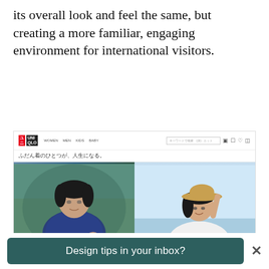its overall look and feel the same, but creating a more familiar, engaging environment for international visitors.
[Figure (screenshot): Screenshot of a Uniqlo Japan website showing navigation bar with Uniqlo logo, Japanese text, and two product images: a man in a blue t-shirt on the left, and a woman in a white shirt with a straw hat on the right with AIRism and Uniqlo U branding.]
Design tips in your inbox?